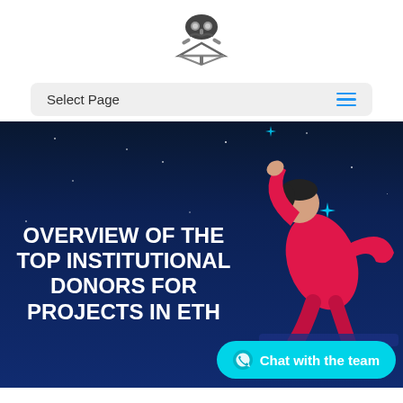[Figure (logo): Organization logo: masked face above a downward-pointing triangle/diamond shape, dark gray and white]
Select Page
[Figure (illustration): Dark blue night sky hero banner with a person in red/magenta outfit reaching up toward a star, with decorative sparkles. Title text: OVERVIEW OF THE TOP INSTITUTIONAL DONORS FOR PROJECTS IN ETHI... overlaid. Chat with the team button partially visible.]
OVERVIEW OF THE TOP INSTITUTIONAL DONORS FOR PROJECTS IN ETH...
Chat with the team